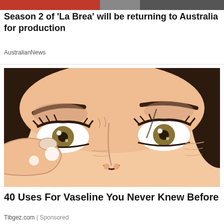[Figure (screenshot): Top partial banner image showing a person on a dark/red background, cropped at top of page]
Season 2 of 'La Brea' will be returning to Australia for production
AustralianNews
[Figure (illustration): Close-up cartoon/comic-style illustration of a woman's face with dark eyebrows and expressive eyes, with a finger pressing under the eye applying cream or vaseline, skin tones are warm peach]
40 Uses For Vaseline You Never Knew Before
Tibgez.com | Sponsored